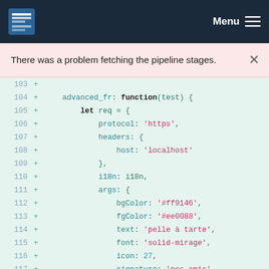Menu
There was a problem fetching the pipeline stages.
[Figure (screenshot): Code diff view showing lines 103-120 of a JavaScript file with additions marked by + signs. Lines show advanced_fr function definition with request object containing protocol, headers, i18n, and args properties.]